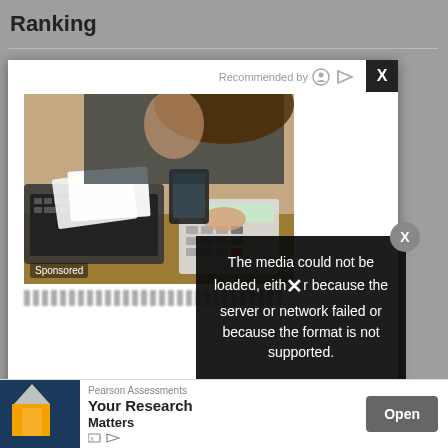Ranking
[Figure (photo): Advertisement popup showing a woman working at a desk with a laptop and calculator. Contains 'Recommended by' header, photo labeled 'Sponsored', and a media error overlay reading 'The media could not be loaded, either because the server or network failed or because the format is not supported.']
Top 1
2022
[Figure (photo): Bottom ad banner for Pearson Assessments showing 'Your Research Matters' with an Open button]